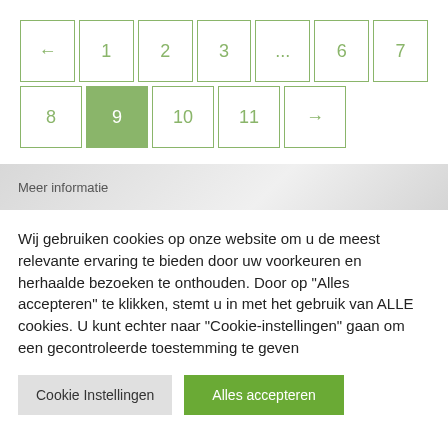[Figure (other): Pagination control showing pages 1-11 with page 9 active (green background). Buttons: ←, 1, 2, 3, ..., 6, 7 on first row; 8, 9 (active), 10, 11, → on second row.]
Meer informatie
Wij gebruiken cookies op onze website om u de meest relevante ervaring te bieden door uw voorkeuren en herhaalde bezoeken te onthouden. Door op "Alles accepteren" te klikken, stemt u in met het gebruik van ALLE cookies. U kunt echter naar "Cookie-instellingen" gaan om een gecontroleerde toestemming te geven
Cookie Instellingen
Alles accepteren